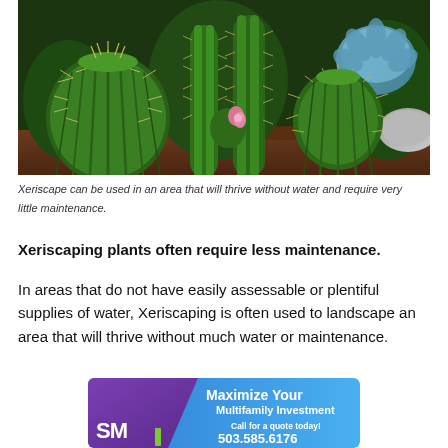[Figure (photo): Close-up photo of various green cacti and succulents in an outdoor xeriscape garden, showing multiple round and columnar cactus species with spines, and a small pink flowering cactus in the center.]
Xeriscape can be used in an area that will thrive without water and require very little maintenance.
Xeriscaping plants often require less maintenance.
In areas that do not have easily assessable or plentiful supplies of water, Xeriscaping is often used to landscape an area that will thrive without much water or maintenance.
[Figure (infographic): Advertisement banner for SMI (likely Shelton Multifamily Investors or similar) with blue and purple gradient background reading 'Maximize Your Multifamily Investment' and 'Call for a quote today! 503.585.6176']